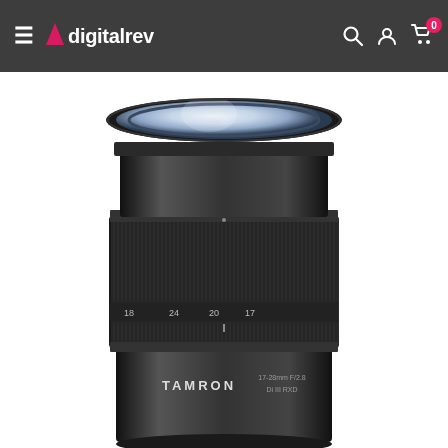digitalrev — navigation header with search, user, and cart icons
[Figure (photo): Product photo of a Tamron 17-28mm F/2.8 Di III RXD camera lens, shown front-top perspective on white background. The black lens has a ribbed zoom ring with focal length markings 18, 24, 20, 17 visible, and TAMRON branding on the barrel.]